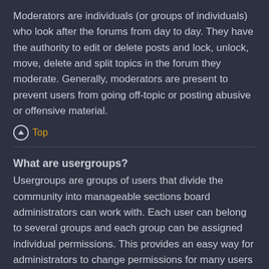Moderators are individuals (or groups of individuals) who look after the forums from day to day. They have the authority to edit or delete posts and lock, unlock, move, delete and split topics in the forum they moderate. Generally, moderators are present to prevent users from going off-topic or posting abusive or offensive material.
Top
What are usergroups?
Usergroups are groups of users that divide the community into manageable sections board administrators can work with. Each user can belong to several groups and each group can be assigned individual permissions. This provides an easy way for administrators to change permissions for many users at once, such as changing moderator permissions or granting users access to a private forum.
Top